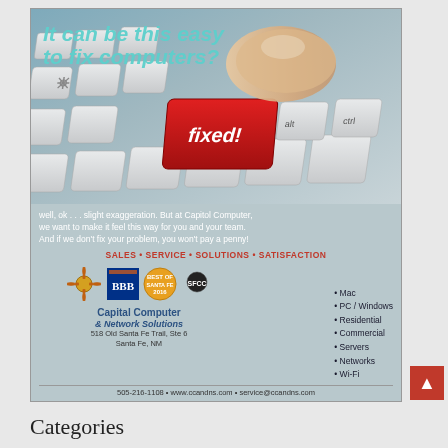[Figure (advertisement): Computer repair advertisement for Capitol Computer & Network Solutions. Shows a keyboard with a red 'fixed!' key being pressed by a finger. Headline reads 'It can be this easy to fix computers?' with tagline about slight exaggeration. Lists services: Sales, Service, Solutions, Satisfaction. Services include Mac, PC/Windows, Residential, Commercial, Servers, Networks, Wi-Fi. Address: 518 Old Santa Fe Trail, Ste 6, Santa Fe, NM. Phone: 505-216-1108. Website: www.ccandns.com. Email: service@ccandns.com.]
Categories